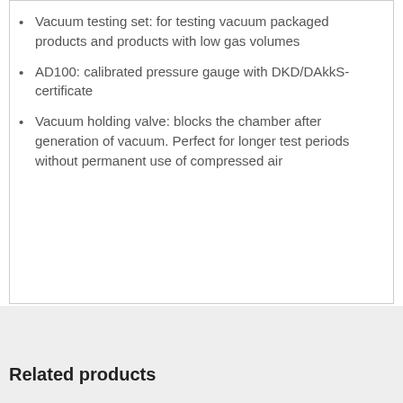Vacuum testing set: for testing vacuum packaged products and products with low gas volumes
AD100: calibrated pressure gauge with DKD/DAkkS-certificate
Vacuum holding valve: blocks the chamber after generation of vacuum. Perfect for longer test periods without permanent use of compressed air
Related products